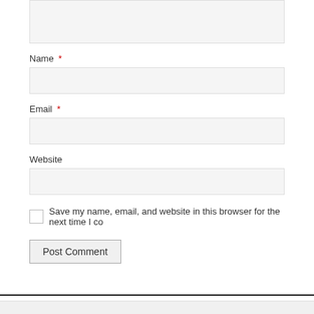[Figure (screenshot): Textarea input field (top, partially visible), light gray background with border]
Name *
[Figure (screenshot): Name text input field, light gray background with border]
Email *
[Figure (screenshot): Email text input field, light gray background with border]
Website
[Figure (screenshot): Website text input field, light gray background with border]
Save my name, email, and website in this browser for the next time I co
Post Comment
Unethical Conversion Watch